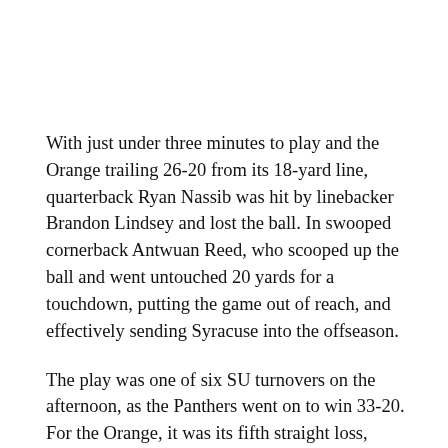With just under three minutes to play and the Orange trailing 26-20 from its 18-yard line, quarterback Ryan Nassib was hit by linebacker Brandon Lindsey and lost the ball. In swooped cornerback Antwuan Reed, who scooped up the ball and went untouched 20 yards for a touchdown, putting the game out of reach, and effectively sending Syracuse into the offseason.
The play was one of six SU turnovers on the afternoon, as the Panthers went on to win 33-20. For the Orange, it was its fifth straight loss, leaving the team with a record of 5-7, one win short of bowl eligibility.
“We had an opportunity to get some things done this season,” Syracuse coach Doug Marrone said to reporters following the game. “It’s a shame that we weren’t able to accomplish that.”